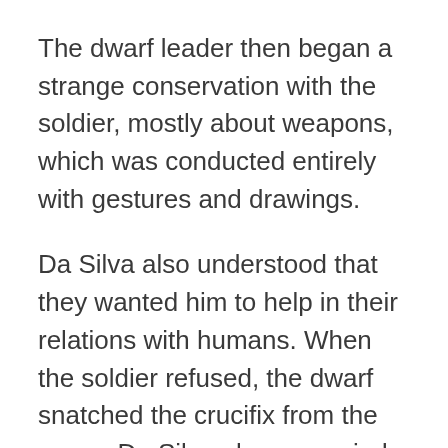The dwarf leader then began a strange conservation with the soldier, mostly about weapons, which was conducted entirely with gestures and drawings.
Da Silva also understood that they wanted him to help in their relations with humans. When the soldier refused, the dwarf snatched the crucifix from the rosary Da Silva always carried with him. As the soldier began praying, a Christlike figure appeared to him, making